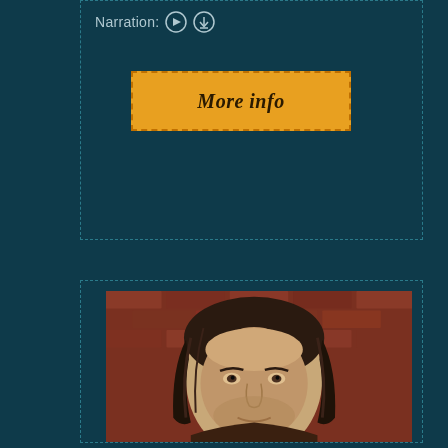Narration: ▶ ⬇
More info
[Figure (photo): Portrait photo of a middle-aged man with long dark wavy hair, against a brick wall background. The man has a thoughtful expression, visible stubble, and is photographed from roughly the shoulders up.]